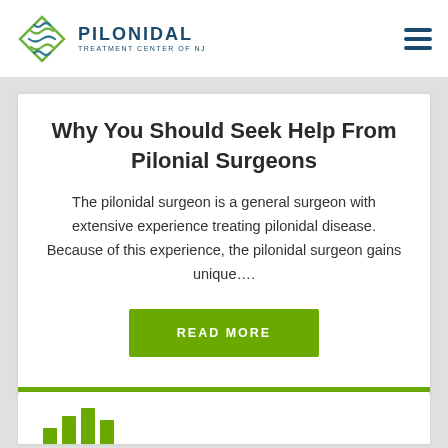[Figure (logo): Pilonidal Treatment Center of NJ logo with green/teal diamond shape icon and text PILONIDAL TREATMENT CENTER OF NJ]
Why You Should Seek Help From Pilonial Surgeons
The pilonidal surgeon is a general surgeon with extensive experience treating pilonidal disease. Because of this experience, the pilonidal surgeon gains unique….
READ MORE
[Figure (illustration): Partial view of a bar chart or graph illustration at the bottom of the page]